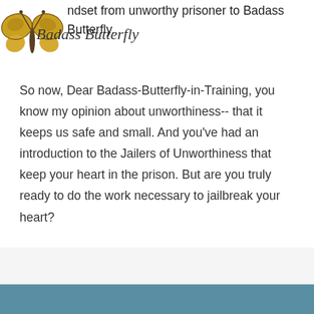[Figure (logo): Yellow and brown butterfly logo with 'Badass Butterfly' script text overlaid]
mindset from unworthy prisoner to Badass Butterfly.
So now, Dear Badass-Butterfly-in-Training, you know my opinion about unworthiness-- that it keeps us safe and small. And you've had an introduction to the Jailers of Unworthiness that keep your heart in the prison. But are you truly ready to do the work necessary to jailbreak your heart?